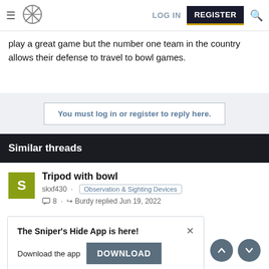LOG IN | REGISTER
play a great game but the number one team in the country allows their defense to travel to bowl games.
You must log in or register to reply here.
Similar threads
Tripod with bowl
skxf430 · Observation & Sighting Devices
8 · Burdy replied Jun 19, 2022
[Figure (screenshot): App download popup: 'The Sniper's Hide App is here!' with DOWNLOAD button and close X]